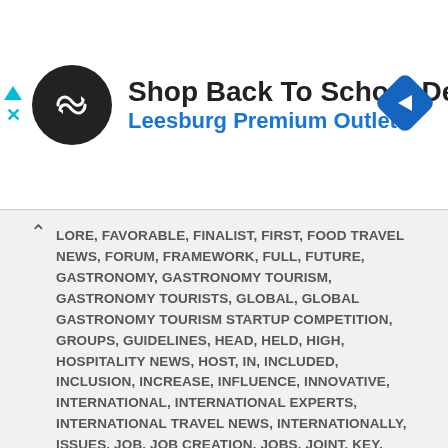[Figure (infographic): Advertisement banner for 'Shop Back To School Deals' at Leesburg Premium Outlets, featuring a circular black logo with infinity/arrows symbol, bold headline text, blue subtitle, and a blue diamond navigation icon on the right. Two cyan control arrows (up-triangle and X) on the far left.]
LORE, FAVORABLE, FINALIST, FIRST, FOOD TRAVEL NEWS, FORUM, FRAMEWORK, FULL, FUTURE, GASTRONOMY, GASTRONOMY TOURISM, GASTRONOMY TOURISTS, GLOBAL, GLOBAL GASTRONOMY TOURISM STARTUP COMPETITION, GROUPS, GUIDELINES, HEAD, HELD, HIGH, HOSPITALITY NEWS, HOST, IN, INCLUDED, INCLUSION, INCREASE, INFLUENCE, INNOVATIVE, INTERNATIONAL, INTERNATIONAL EXPERTS, INTERNATIONAL TRAVEL NEWS, INTERNATIONALLY, ISSUES, JOB, JOB CREATION, JOBS, JOINT, KEY, LATEST, LIGHT, LINE, LOCAL, LUXURY TRAVEL NEWS, MARKET, MAY, MEET, MEETINGS.TRAVEL, MICE INDUSTRY NEWS, MINISTERS, MOST, NEEDED, NEW, NEWS ARTICLES, OFFER, OPEN, OPPORTUNITIES, ORDER, ORGANIZATION, PANEL, PARTICIPANTS, PERSONS, POLICIES, POLITICAL, POTENTIAL, PRESENT, PRESENTATION, PROJECTS, PROMOTE, PUBLIC, PUBLIC POLICIES, REGIONS, REGISTRATION, RELATED, REPRESENTED, RESPONSIBLE, RESPONSIBLE TOURISM, RESTAURANT, S, SECTOR, SESSIONS, SHOPPING NEWS, SKILLS, SLOVENIA, SPAIN, SPEAKERS, STARTUPS, STATE